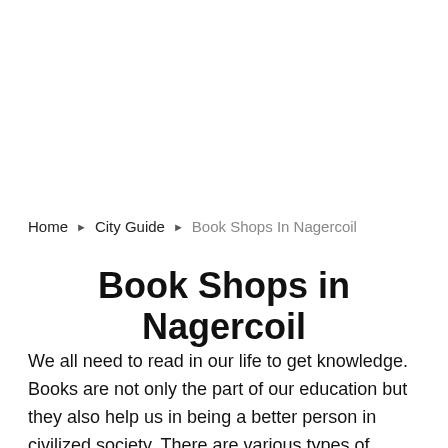Home › City Guide › Book Shops In Nagercoil
Book Shops in Nagercoil
We all need to read in our life to get knowledge. Books are not only the part of our education but they also help us in being a better person in civilized society. There are various types of books are available in the market for different kinds of readers. Some people like to read